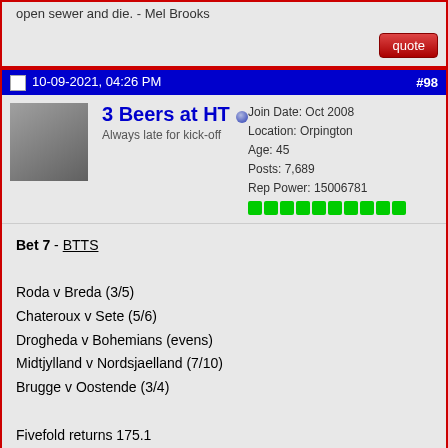open sewer and die. - Mel Brooks
10-09-2021, 04:26 PM  #98
3 Beers at HT
Always late for kick-off
Join Date: Oct 2008
Location: Orpington
Age: 45
Posts: 7,689
Rep Power: 15006781
Bet 7 - BTTS

Roda v Breda (3/5)
Chateroux v Sete (5/6)
Drogheda v Bohemians (evens)
Midtjylland v Nordsjaelland (7/10)
Brugge v Oostende (3/4)

Fivefold returns 175.1

(SBK)
10-09-2021, 05:03 PM  #99
Stigma
Join Date: Oct 2001
Location: Kristiansand, Norway
Age: 42